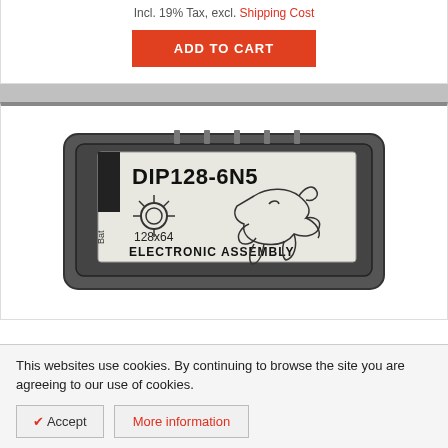Incl. 19% Tax, excl. Shipping Cost
ADD TO CART
[Figure (photo): Product photo of DIP128-6N5 LCD module by Electronic Assembly, showing 128x64 pixel display with logo graphics including a lightbulb and triceratops dinosaur illustration]
This websites use cookies. By continuing to browse the site you are agreeing to our use of cookies.
✔ Accept
More information